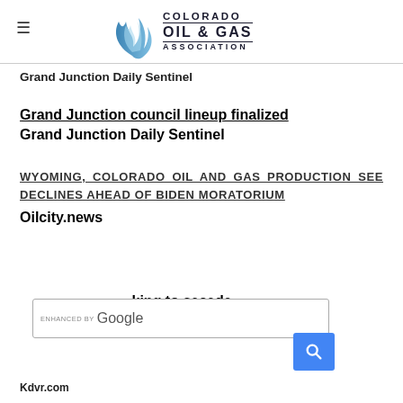Colorado Oil & Gas Association
Grand Junction Daily Sentinel
Grand Junction council lineup finalized
Grand Junction Daily Sentinel
WYOMING, COLORADO OIL AND GAS PRODUCTION SEE DECLINES AHEAD OF BIDEN MORATORIUM
Oilcity.news
...king to secede ...ming
Kdvr.com